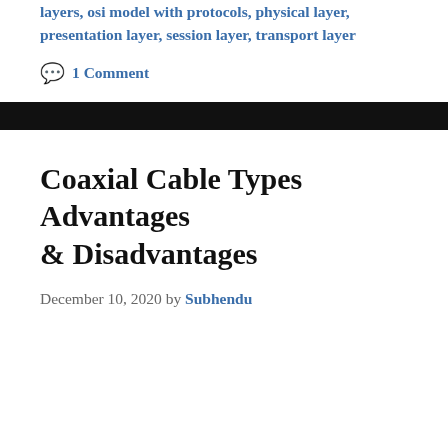layers, osi model with protocols, physical layer, presentation layer, session layer, transport layer
1 Comment
Coaxial Cable Types Advantages & Disadvantages
December 10, 2020 by Subhendu